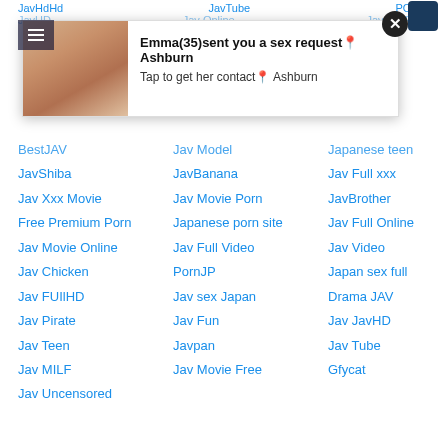JavHdHd  JavTube  POPJAV  JavHD  Jav Online  Jav MILF Porn
[Figure (photo): Popup overlay with a photo of a woman on the left and text on the right reading: Emma(35)sent you a sex request📍Ashburn / Tap to get her contact📍 Ashburn]
BestJAV
JavShiba
Jav Xxx Movie
Free Premium Porn
Jav Movie Online
Jav Chicken
Jav FUIlHD
Jav Pirate
Jav Teen
Jav MILF
Jav Uncensored
Jav Model
JavBanana
Jav Movie Porn
Japanese porn site
Jav Full Video
PornJP
Jav sex Japan
Jav Fun
Javpan
Jav Movie Free
Japanese teen
Jav Full xxx
JavBrother
Jav Full Online
Jav Video
Japan sex full
Drama JAV
Jav JavHD
Jav Tube
Gfycat